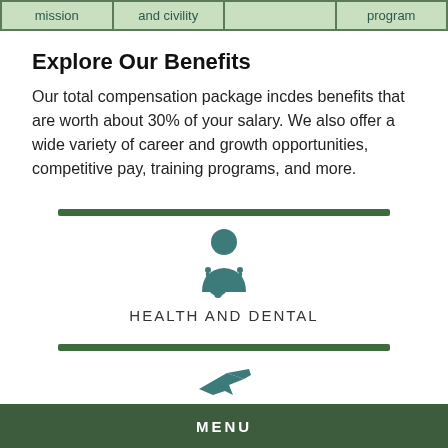| mission | and civility |  | program |
| --- | --- | --- | --- |
|  |
Explore Our Benefits
Our total compensation package incdes benefits that are worth about 30% of your salary. We also offer a wide variety of career and growth opportunities, competitive pay, training programs, and more.
[Figure (illustration): Green horizontal bar divider above a doctor/medical icon with stethoscope, labeled HEALTH AND DENTAL]
[Figure (illustration): Green horizontal bar divider above a plane/travel icon (partially visible at bottom)]
MENU